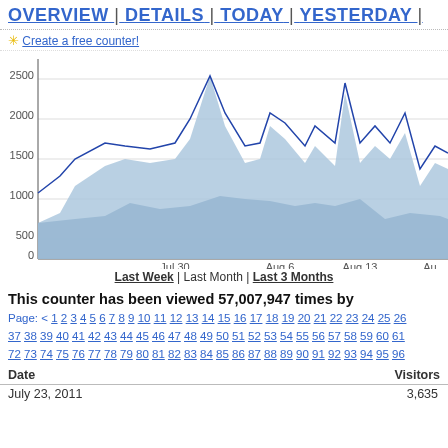OVERVIEW | DETAILS | TODAY | YESTERDAY |
✳ Create a free counter!
[Figure (area-chart): Multi-series area chart showing visitor counts over time. Y-axis from 0 to 2500. X-axis shows Jul 30, Aug 6, Aug 13, Aug... Two shaded area series (light and dark blue) with a line series on top. Peak around Jul 30 at ~2050.]
Last Week | Last Month | Last 3 Months
This counter has been viewed 57,007,947 times by
Page: < 1 2 3 4 5 6 7 8 9 10 11 12 13 14 15 16 17 18 19 20 21 22 23 24 25 26 37 38 39 40 41 42 43 44 45 46 47 48 49 50 51 52 53 54 55 56 57 58 59 60 61 72 73 74 75 76 77 78 79 80 81 82 83 84 85 86 87 88 89 90 91 92 93 94 95 96
| Date | Visitors |
| --- | --- |
| July 23, 2011 | 3,635 |